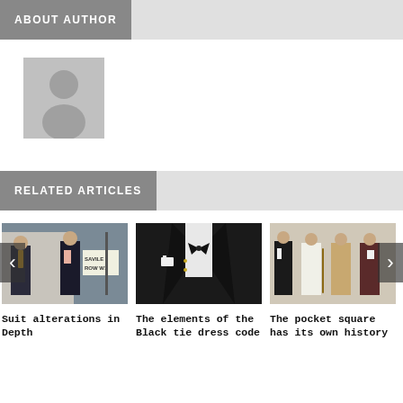ABOUT AUTHOR
[Figure (illustration): Default author avatar placeholder — grey silhouette of a person on grey background]
RELATED ARTICLES
[Figure (photo): Two men in suits standing near a Savile Row W1 street sign]
Suit alterations in Depth
[Figure (photo): Close-up of a man in a black tuxedo with white pocket square and bow tie]
The elements of the Black tie dress code
[Figure (photo): Four men in various classic suits standing in a row]
The pocket square has its own history